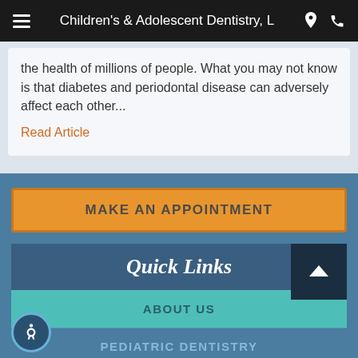Children's & Adolescent Dentistry, L
the health of millions of people. What you may not know is that diabetes and periodontal disease can adversely affect each other...
Read Article
MAKE AN APPOINTMENT
Quick Links
ABOUT US
PEDIATRIC DENTISTRY